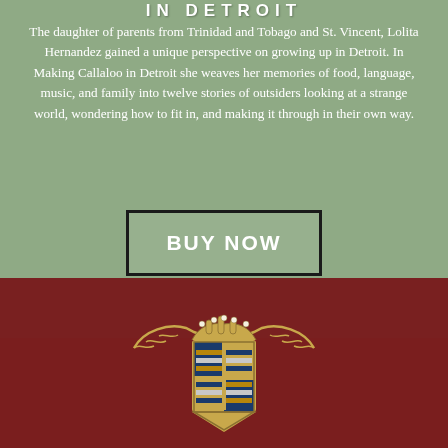IN DETROIT
The daughter of parents from Trinidad and Tobago and St. Vincent, Lolita Hernandez gained a unique perspective on growing up in Detroit. In Making Callaloo in Detroit she weaves her memories of food, language, music, and family into twelve stories of outsiders looking at a strange world, wondering how to fit in, and making it through in their own way.
BUY NOW
[Figure (photo): Close-up photograph of a Cadillac hood ornament/badge on a dark red/maroon car surface. The badge shows the classic Cadillac crest with heraldic shield design in gold and multicolored enamel.]